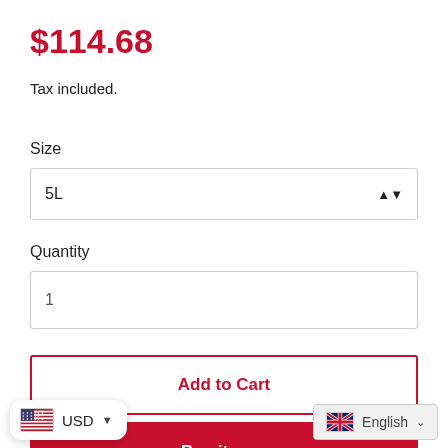$114.68
Tax included.
Size
5L
Quantity
1
Add to Cart
Buy it now
USD
English